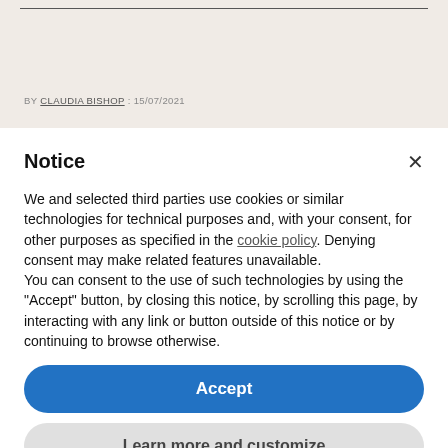BY CLAUDIA BISHOP : 15/07/2021
Notice
We and selected third parties use cookies or similar technologies for technical purposes and, with your consent, for other purposes as specified in the cookie policy. Denying consent may make related features unavailable.
You can consent to the use of such technologies by using the "Accept" button, by closing this notice, by scrolling this page, by interacting with any link or button outside of this notice or by continuing to browse otherwise.
Accept
Learn more and customize